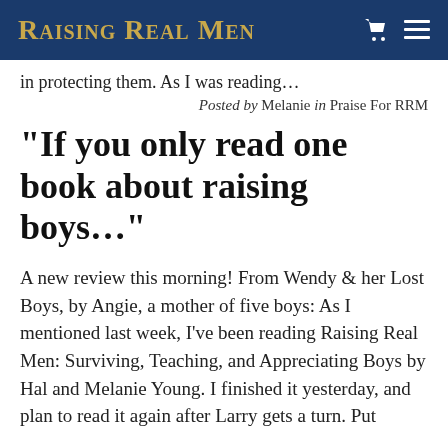Raising Real Men
in protecting them. As I was reading…
Posted by Melanie in Praise For RRM
“If you only read one book about raising boys…”
A new review this morning! From Wendy & her Lost Boys, by Angie, a mother of five boys: As I mentioned last week, I’ve been reading Raising Real Men: Surviving, Teaching, and Appreciating Boys by Hal and Melanie Young. I finished it yesterday, and plan to read it again after Larry gets a turn. Put